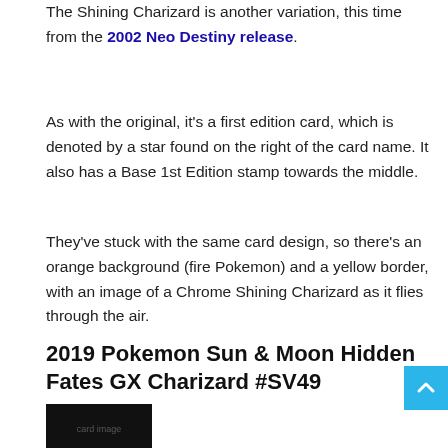The Shining Charizard is another variation, this time from the 2002 Neo Destiny release.
As with the original, it's a first edition card, which is denoted by a star found on the right of the card name. It also has a Base 1st Edition stamp towards the middle.
They've stuck with the same card design, so there's an orange background (fire Pokemon) and a yellow border, with an image of a Chrome Shining Charizard as it flies through the air.
2019 Pokemon Sun & Moon Hidden Fates GX Charizard #SV49
[Figure (photo): Partial view of a Pokemon card with a dark/black background at the bottom of the page]